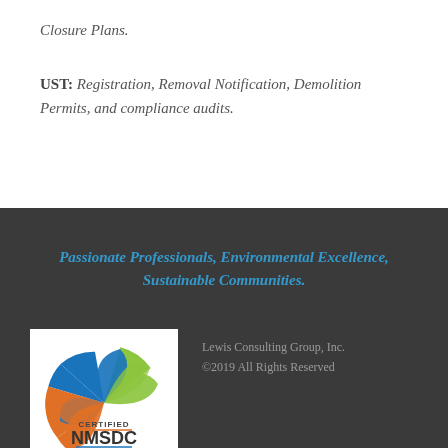Closure Plans.
UST: Registration, Removal Notification, Demolition Permits, and compliance audits.
Passionate Professionals, Environmental Excellence, Sustainable Communities.
[Figure (logo): Certified NMSDC MBE 2018 logo with colorful pinwheel graphic]
Lewis Consulting Group, Inc. ©2019 All Rights Reserved